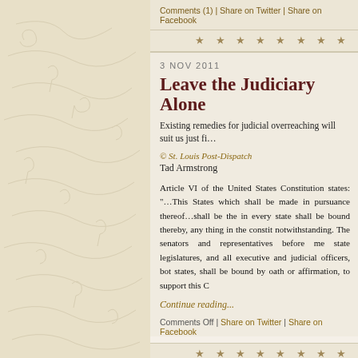Comments (1) | Share on Twitter | Share on Facebook
★ ★ ★ ★ ★ ★ ★ ★
3 NOV 2011
Leave the Judiciary Alone
Existing remedies for judicial overreaching will suit us just fi...
© St. Louis Post-Dispatch
Tad Armstrong
Article VI of the United States Constitution states: "…This States which shall be made in pursuance thereof…shall be the in every state shall be bound thereby, any thing in the constit notwithstanding. The senators and representatives before me state legislatures, and all executive and judicial officers, bot states, shall be bound by oath or affirmation, to support this C
Continue reading...
Comments Off | Share on Twitter | Share on Facebook
★ ★ ★ ★ ★ ★ ★ ★
5 OCT 2011